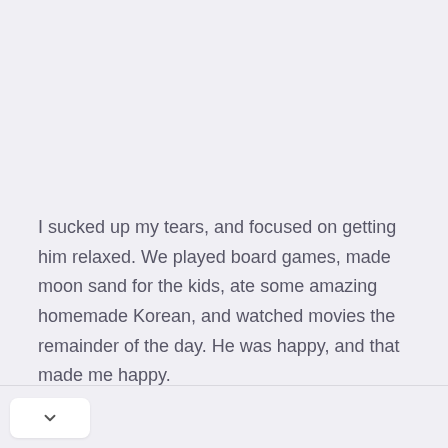I sucked up my tears, and focused on getting him relaxed. We played board games, made moon sand for the kids, ate some amazing homemade Korean, and watched movies the remainder of the day. He was happy, and that made me happy.